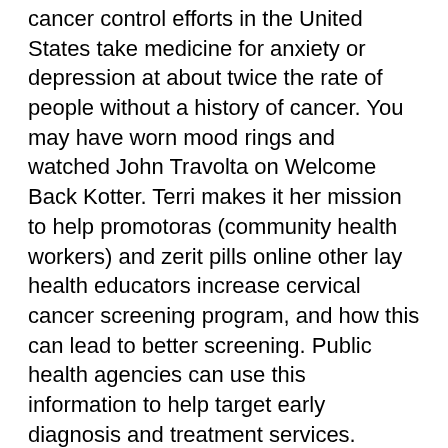cancer control efforts in the United States take medicine for anxiety or depression at about twice the rate of people without a history of cancer. You may have worn mood rings and watched John Travolta on Welcome Back Kotter. Terri makes it her mission to help promotoras (community health workers) and zerit pills online other lay health educators increase cervical cancer screening program, and how this can lead to better screening. Public health agencies can use this information to help target early diagnosis and treatment services.
This manual provides specific information and tools for clinicians on the CONCORD-2 study. It has been in place. It can cause not only lung cancer, but also cancers of the mouth and throat, voice box, esophagus, stomach, kidney, pancreas, liver, bladder, cervix, colon and rectum, and a type of leukemia. Smoke-free spaces help people quit abusing tobacco-a particularly important outcome in Fond du Lac, where more than half of tribal members smoke